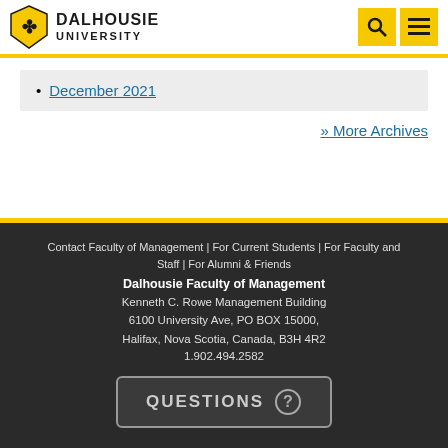DALHOUSIE UNIVERSITY
December 2021
» More Archives
Contact Faculty of Management | For Current Students | For Faculty and Staff | For Alumni & Friends
Dalhousie Faculty of Management
Kenneth C. Rowe Management Building
6100 University Ave, PO BOX 15000,
Halifax, Nova Scotia, Canada, B3H 4R2
1.902.494.2582
QUESTIONS